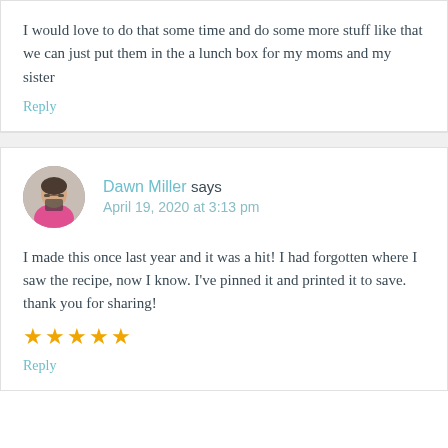I would love to do that some time and do some more stuff like that we can just put them in the a lunch box for my moms and my sister
Reply
Dawn Miller says
April 19, 2020 at 3:13 pm
I made this once last year and it was a hit! I had forgotten where I saw the recipe, now I know. I've pinned it and printed it to save. thank you for sharing!
★★★★★
Reply